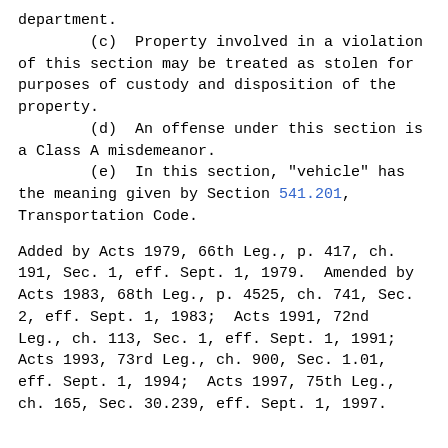department.
        (c)  Property involved in a violation of this section may be treated as stolen for purposes of custody and disposition of the property.
        (d)  An offense under this section is a Class A misdemeanor.
        (e)  In this section, "vehicle" has the meaning given by Section 541.201, Transportation Code.
Added by Acts 1979, 66th Leg., p. 417, ch. 191, Sec. 1, eff. Sept. 1, 1979.  Amended by Acts 1983, 68th Leg., p. 4525, ch. 741, Sec. 2, eff. Sept. 1, 1983;  Acts 1991, 72nd Leg., ch. 113, Sec. 1, eff. Sept. 1, 1991; Acts 1993, 73rd Leg., ch. 900, Sec. 1.01, eff. Sept. 1, 1994;  Acts 1997, 75th Leg., ch. 165, Sec. 30.239, eff. Sept. 1, 1997.